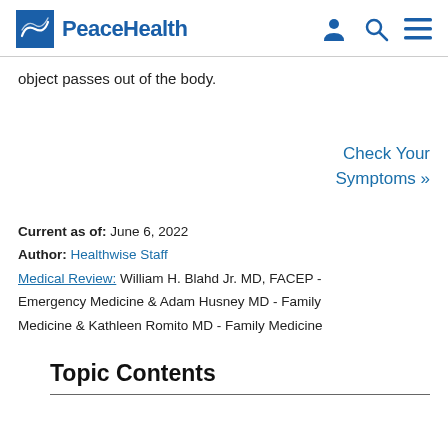PeaceHealth
object passes out of the body.
Check Your Symptoms »
Current as of:  June 6, 2022
Author:  Healthwise Staff
Medical Review: William H. Blahd Jr. MD, FACEP - Emergency Medicine & Adam Husney MD - Family Medicine & Kathleen Romito MD - Family Medicine
Topic Contents